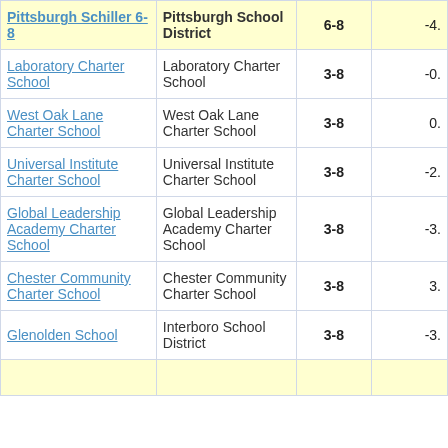| School | District | Grades | Value |
| --- | --- | --- | --- |
| Pittsburgh Schiller 6-8 | Pittsburgh School District | 6-8 | -4. |
| Laboratory Charter School | Laboratory Charter School | 3-8 | -0. |
| West Oak Lane Charter School | West Oak Lane Charter School | 3-8 | 0. |
| Universal Institute Charter School | Universal Institute Charter School | 3-8 | -2. |
| Global Leadership Academy Charter School | Global Leadership Academy Charter School | 3-8 | -3. |
| Chester Community Charter School | Chester Community Charter School | 3-8 | 3. |
| Glenolden School | Interboro School District | 3-8 | -3. |
| (partial row) |  |  |  |